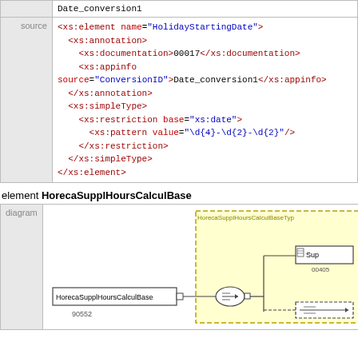|  | Date_conversion1 |
| --- | --- |
| source | <xs:element name="HolidayStartingDate">
  <xs:annotation>
    <xs:documentation>00017</xs:documentation>
    <xs:appinfo source="ConversionID">Date_conversion1</xs:appinfo>
  </xs:annotation>
  <xs:simpleType>
    <xs:restriction base="xs:date">
      <xs:pattern value="\d{4}-\d{2}-\d{2}"/>
    </xs:restriction>
  </xs:simpleType>
</xs:element> |
element HorecaSupplHoursCalculBase
| diagram |  |
| --- | --- |
| diagram | [diagram of HorecaSupplHoursCalculBase element] |
[Figure (engineering-diagram): XML schema diagram showing HorecaSupplHoursCalculBase element connected to HorecaSupplHoursCalculBaseType with sequence connector and sub-elements. Shows element box labeled HorecaSupplHoursCalculBase with id 90552, connected via sequence node to HorecaSupplHoursCalculBaseType box (yellow dashed border) containing Sup element (00405) and another element with dashed connector.]